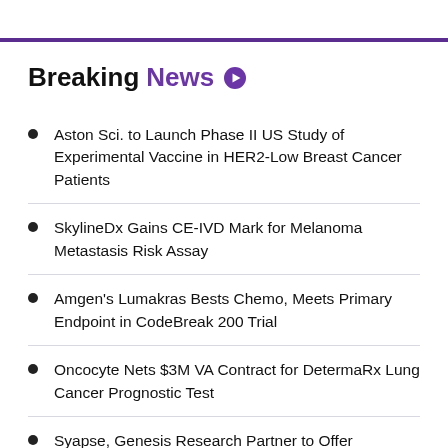Breaking News
Aston Sci. to Launch Phase II US Study of Experimental Vaccine in HER2-Low Breast Cancer Patients
SkylineDx Gains CE-IVD Mark for Melanoma Metastasis Risk Assay
Amgen's Lumakras Bests Chemo, Meets Primary Endpoint in CodeBreak 200 Trial
Oncocyte Nets $3M VA Contract for DetermaRx Lung Cancer Prognostic Test
Syapse, Genesis Research Partner to Offer Expanded Oncology Real-World Evidence Services
Jounce Therapeutics' Vopratelimab, Pimivalimab Combo Trial in NSCLC Fails to Meet Primary Endpoint